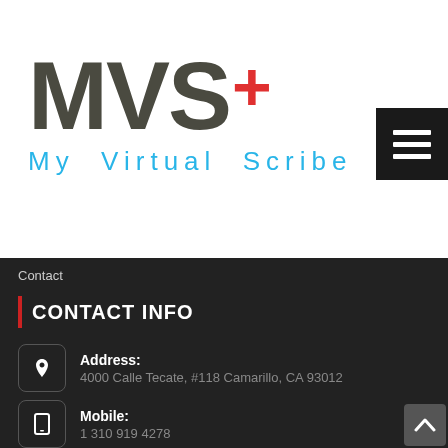[Figure (logo): MVS+ My Virtual Scribe logo. Large dark grey bold letters 'MVS' with a red cross symbol '+', and below in light blue spaced letters 'My Virtual Scribe'.]
[Figure (other): Black hamburger menu button with three white horizontal lines.]
Contact
CONTACT INFO
Address: 4000 Calle Tecate, #118 Camarillo, CA 93012
Mobile: 1 310 919 4278